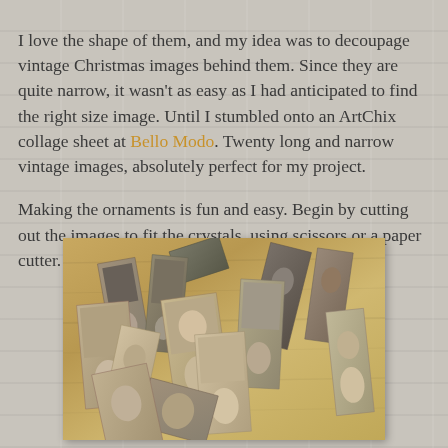I love the shape of them, and my idea was to decoupage vintage Christmas images behind them. Since they are quite narrow, it wasn't as easy as I had anticipated to find the right size image. Until I stumbled onto an ArtChix collage sheet at Bello Modo. Twenty long and narrow vintage images, absolutely perfect for my project.

Making the ornaments is fun and easy. Begin by cutting out the images to fit the crystals, using scissors or a paper cutter.
[Figure (photo): A collection of narrow vintage Christmas photo cards scattered on a wooden surface, showing black-and-white and sepia-toned portraits of children and women in Victorian/Edwardian era clothing.]